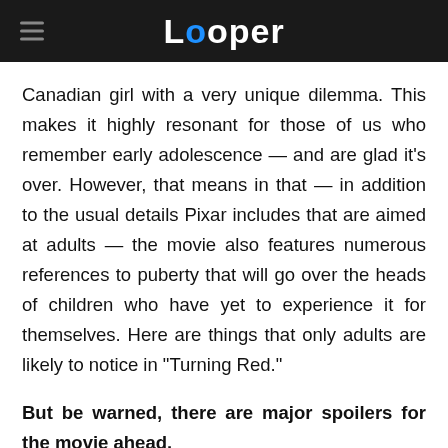Looper
Canadian girl with a very unique dilemma. This makes it highly resonant for those of us who remember early adolescence — and are glad it's over. However, that means in that — in addition to the usual details Pixar includes that are aimed at adults — the movie also features numerous references to puberty that will go over the heads of children who have yet to experience it for themselves. Here are things that only adults are likely to notice in "Turning Red."
But be warned, there are major spoilers for the movie ahead.